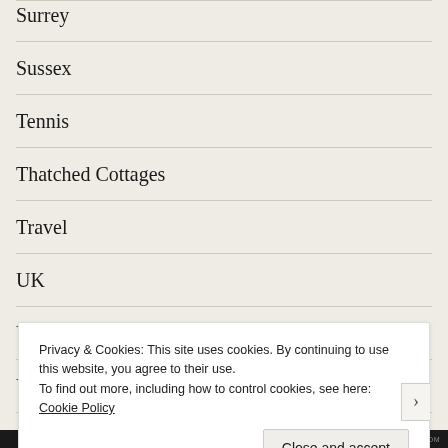Surrey
Sussex
Tennis
Thatched Cottages
Travel
UK
Valentine's Day
Voucher Code
Wales
Privacy & Cookies: This site uses cookies. By continuing to use this website, you agree to their use. To find out more, including how to control cookies, see here: Cookie Policy
Close and accept